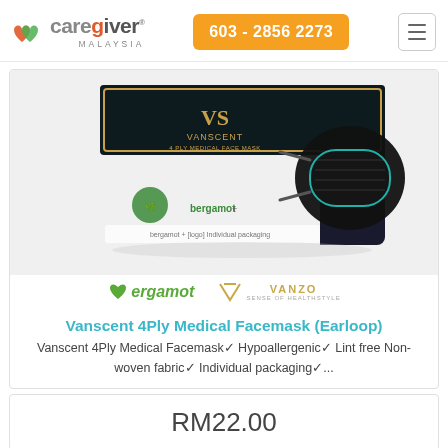[Figure (logo): Caregiver Malaysia logo with orange heart icon and text]
603 - 2856 2273
[Figure (photo): Vanscent 4Ply Medical Facemask product box (black and white box with green bergamot and a black face mask shown on side), with bergamot and Vanzo brand logos below]
Vanscent 4Ply Medical Facemask (Earloop)
Vanscent 4Ply Medical Facemask✓ Hypoallergenic✓ Lint free Non-woven fabric✓ Individual packaging✓...
RM22.00